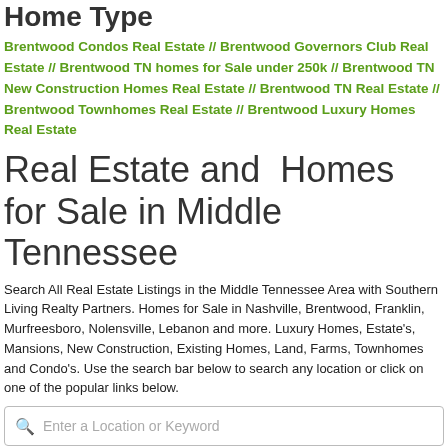Home Type
Brentwood Condos Real Estate // Brentwood Governors Club Real Estate // Brentwood TN homes for Sale under 250k // Brentwood TN New Construction Homes Real Estate // Brentwood TN Real Estate // Brentwood Townhomes Real Estate // Brentwood Luxury Homes Real Estate
Real Estate and  Homes for Sale in Middle Tennessee
Search All Real Estate Listings in the Middle Tennessee Area with Southern Living Realty Partners. Homes for Sale in Nashville, Brentwood, Franklin, Murfreesboro, Nolensville, Lebanon and more. Luxury Homes, Estate's, Mansions, New Construction, Existing Homes, Land, Farms, Townhomes and Condo's. Use the search bar below to search any location or click on one of the popular links below.